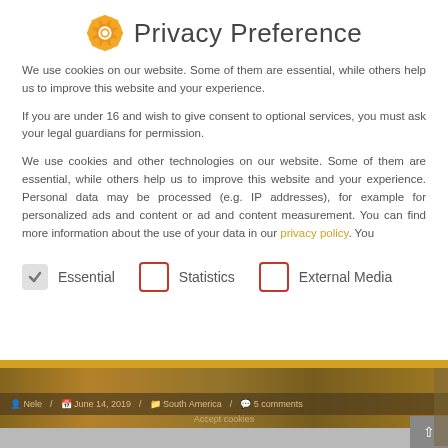Privacy Preference
We use cookies on our website. Some of them are essential, while others help us to improve this website and your experience.
If you are under 16 and wish to give consent to optional services, you must ask your legal guardians for permission.
We use cookies and other technologies on our website. Some of them are essential, while others help us to improve this website and your experience. Personal data may be processed (e.g. IP addresses), for example for personalized ads and content or ad and content measurement. You can find more information about the use of your data in our privacy policy. You
✓ Essential
☐ Statistics
☐ External Media
[Figure (photo): Background photo showing an animal (appears to be a deer or antelope) on brown ground]
Nele / June 14, 2019 / South America / 5 comments